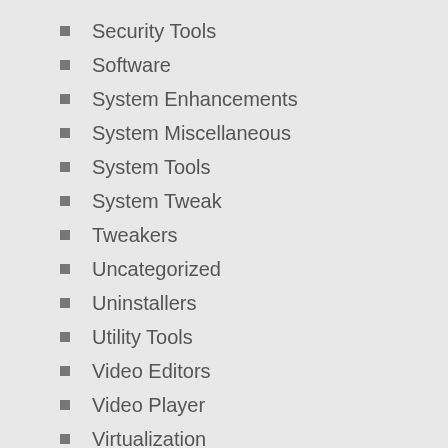Security Tools
Software
System Enhancements
System Miscellaneous
System Tools
System Tweak
Tweakers
Uncategorized
Uninstallers
Utility Tools
Video Editors
Video Player
Virtualization
VPN
Web Browsers
WebCam